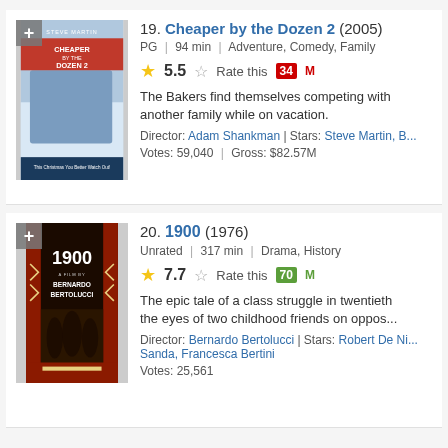[Figure (photo): Movie poster for Cheaper by the Dozen 2 (2005) showing the Baker family]
19. Cheaper by the Dozen 2 (2005)
PG | 94 min | Adventure, Comedy, Family
5.5 | Rate this | 34 M
The Bakers find themselves competing with another family while on vacation.
Director: Adam Shankman | Stars: Steve Martin, B...
Votes: 59,040 | Gross: $82.57M
[Figure (photo): Movie poster for 1900 (1976) directed by Bernardo Bertolucci]
20. 1900 (1976)
Unrated | 317 min | Drama, History
7.7 | Rate this | 70 M
The epic tale of a class struggle in twentieth... the eyes of two childhood friends on oppos...
Director: Bernardo Bertolucci | Stars: Robert De Ni..., Sanda, Francesca Bertini
Votes: 25,561